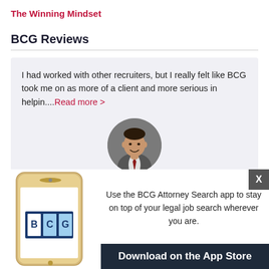The Winning Mindset
BCG Reviews
I had worked with other recruiters, but I really felt like BCG took me on as more of a client and more serious in helpin....Read more >
[Figure (photo): Circular profile photo of a man in a grey suit with a red tie, smiling]
[Figure (screenshot): BCG Attorney Search mobile app advertisement showing a smartphone with the BCG logo. Text: Use the BCG Attorney Search app to stay on top of your legal job search wherever you are. Download on the App Store]